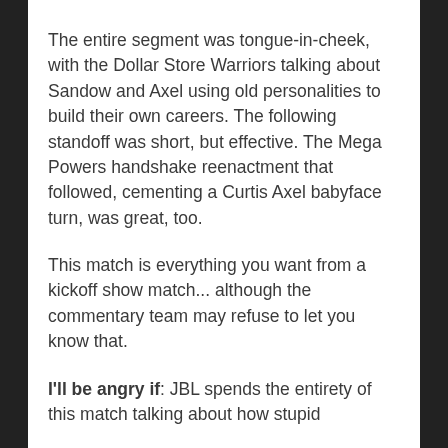The entire segment was tongue-in-cheek, with the Dollar Store Warriors talking about Sandow and Axel using old personalities to build their own careers. The following standoff was short, but effective. The Mega Powers handshake reenactment that followed, cementing a Curtis Axel babyface turn, was great, too.
This match is everything you want from a kickoff show match... although the commentary team may refuse to let you know that.
I'll be angry if: JBL spends the entirety of this match talking about how stupid